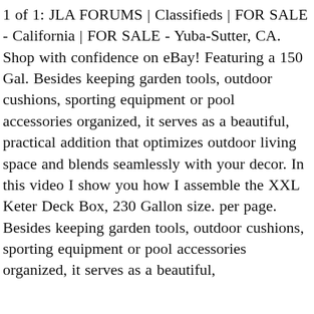1 of 1: JLA FORUMS | Classifieds | FOR SALE - California | FOR SALE - Yuba-Sutter, CA. Shop with confidence on eBay! Featuring a 150 Gal. Besides keeping garden tools, outdoor cushions, sporting equipment or pool accessories organized, it serves as a beautiful, practical addition that optimizes outdoor living space and blends seamlessly with your decor. In this video I show you how I assemble the XXL Keter Deck Box, 230 Gallon size. per page. Besides keeping garden tools, outdoor cushions, sporting equipment or pool accessories organized, it serves as a beautiful,